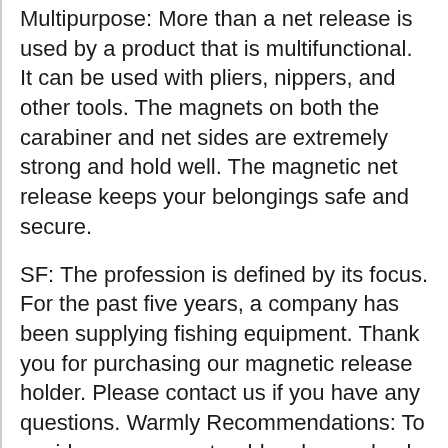Multipurpose: More than a net release is used by a product that is multifunctional. It can be used with pliers, nippers, and other tools. The magnets on both the carabiner and net sides are extremely strong and hold well. The magnetic net release keeps your belongings safe and secure.
SF: The profession is defined by its focus. For the past five years, a company has been supplying fishing equipment. Thank you for purchasing our magnetic release holder. Please contact us if you have any questions. Warmly Recommendations: To avoid unnecessary trouble, please check the applicable model of the magnetic net release before placing your order.